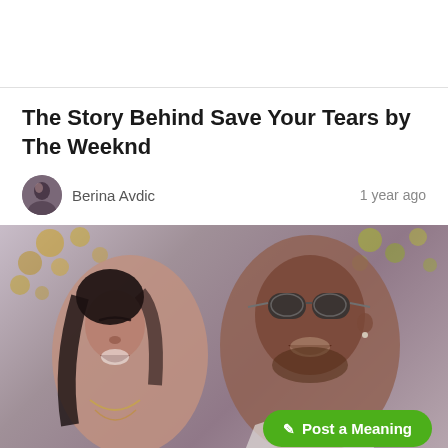The Story Behind Save Your Tears by The Weeknd
Berina Avdic    1 year ago
[Figure (illustration): Illustration of two figures — a woman on the left with eyes closed and a man on the right wearing aviator sunglasses, both appearing to be singing or performing, with a colorful background of circles/dots in yellow and green tones, rendered in a muted/faded comic style.]
✎ Post a Meaning